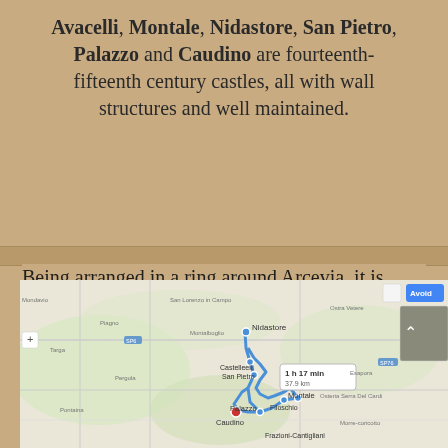Avacelli, Montale, Nidastore, San Pietro, Palazzo and Caudino are fourteenth-fifteenth century castles, all with wall structures and well maintained.
Being arranged in a ring around Arcevia, it is possible to optimize the itinerary by following the route I created on Google Maps for you.
[Figure (map): Google Maps screenshot showing a driving route around Arcevia, Italy, connecting locations including Nidastore, Castelleelli, San Pietro, Palazzo, Montale, Filocchin, and Frazioni-Cantigliani. The route is shown as a blue line forming a ring around the area. A popup shows '1 h 17 min, 37.9 km'. Map controls visible including zoom and satellite view buttons.]